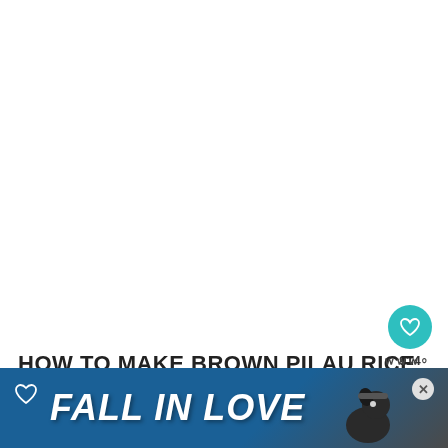[Figure (photo): Large white/light colored image area — recipe photo placeholder for brown pilau rice dish]
[Figure (illustration): Teal circular favorite/heart button showing a heart icon, with count 914 below]
[Figure (illustration): Light circular share button with share icon]
HOW TO MAKE BROWN PILAU RICE
T
[Figure (screenshot): Advertisement banner: heart icon top left, close X button top right, bold italic white text FALL IN LOVE, dog illustration on right side, dark blue/teal background]